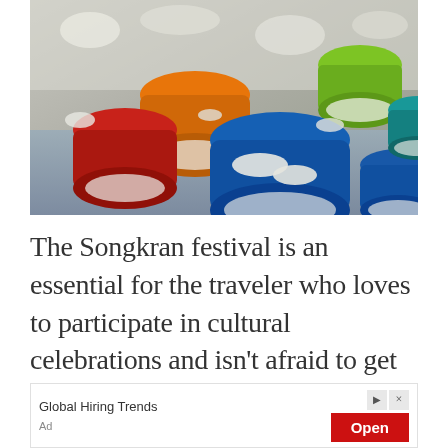[Figure (photo): Colorful bowls (red, orange, blue, green) filled with white items, placed on a table at what appears to be a market stall related to Songkran festival.]
The Songkran festival is an essential for the traveler who loves to participate in cultural celebrations and isn't afraid to get very, very wet and stay that way for 3 days.Thailand's New Year is an
[Figure (other): Advertisement banner with text 'Global Hiring Trends', an 'Open' button in red, and an 'Ad' label.]